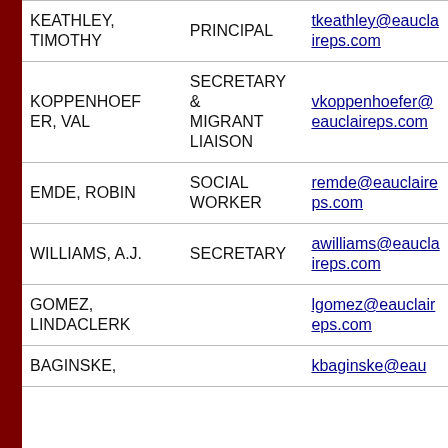| Name | Title | Email |
| --- | --- | --- |
| KEATHLEY, TIMOTHY | PRINCIPAL | tkeathley@eauclaireps.com |
| KOPPENHOEF ER, VAL | SECRETARY & MIGRANT LIAISON | vkoppenhoefer@eauclaireps.com |
| EMDE, ROBIN | SOCIAL WORKER | remde@eauclaireps.com |
| WILLIAMS, A.J. | SECRETARY | awilliams@eauclaireps.com |
| GOMEZ, LINDA | CLERK | lgomez@eauclaireps.com |
| BAGINSKE, |  | kbaginske@eau |